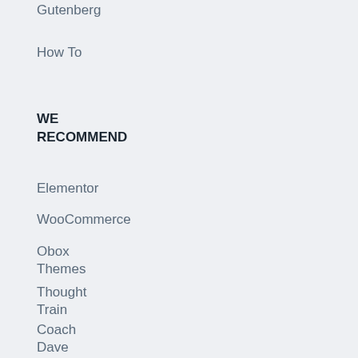Gutenberg
How To
WE RECOMMEND
Elementor
WooCommerce
Obox Themes
Thought Train
Coach Dave Academy
One Page Love
POSTS